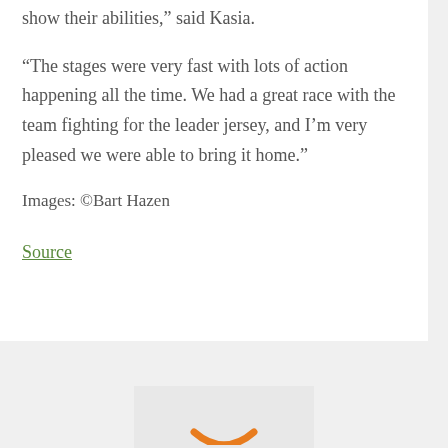show their abilities," said Kasia.
“The stages were very fast with lots of action happening all the time. We had a great race with the team fighting for the leader jersey, and I’m very pleased we were able to bring it home.”
Images: ©Bart Hazen
Source
← Previous Post
Next Post →
[Figure (logo): Orange smile/arc logo on light gray background]